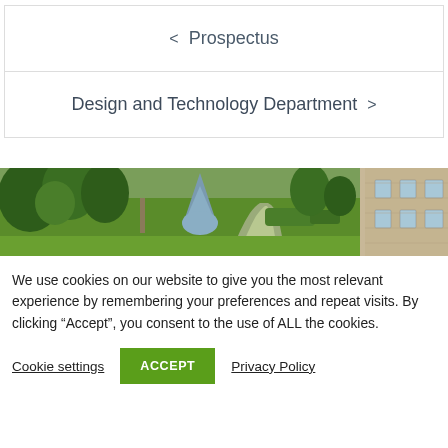< Prospectus
Design and Technology Department >
[Figure (photo): Aerial/elevated view of a school grounds with gardens, trees, a pathway, and a stone building with windows]
We use cookies on our website to give you the most relevant experience by remembering your preferences and repeat visits. By clicking “Accept”, you consent to the use of ALL the cookies.
Cookie settings   ACCEPT   Privacy Policy